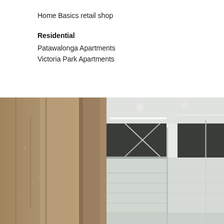Home Basics retail shop
Residential
Patawalonga Apartments
Victoria Park Apartments
[Figure (photo): Interior architectural photograph showing a concrete wall column on the left side and a modern interior space on the right with glass partitions, recessed linear LED ceiling lights, and white wall panels.]